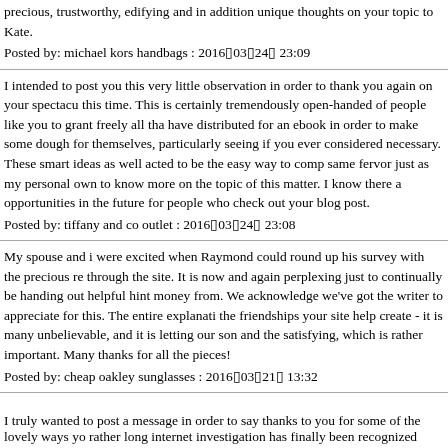precious, trustworthy, edifying and in addition unique thoughts on your topic to Kate.
Posted by: michael kors handbags : 2016▯03▯24▯ 23:09
I intended to post you this very little observation in order to thank you again on your spectacu this time. This is certainly tremendously open-handed of people like you to grant freely all tha have distributed for an ebook in order to make some dough for themselves, particularly seeing if you ever considered necessary. These smart ideas as well acted to be the easy way to comp same fervor just as my personal own to know more on the topic of this matter. I know there a opportunities in the future for people who check out your blog post.
Posted by: tiffany and co outlet : 2016▯03▯24▯ 23:08
My spouse and i were excited when Raymond could round up his survey with the precious re through the site. It is now and again perplexing just to continually be handing out helpful hint money from. We acknowledge we've got the writer to appreciate for this. The entire explanati the friendships your site help create - it is many unbelievable, and it is letting our son and the satisfying, which is rather important. Many thanks for all the pieces!
Posted by: cheap oakley sunglasses : 2016▯03▯21▯ 13:32
I truly wanted to post a message in order to say thanks to you for some of the lovely ways yo rather long internet investigation has finally been recognized with awesome suggestions to go say that most of us site visitors actually are rather lucky to live in a wonderful site with so ma solutions. I feel somewhat grateful to have seen your website and look forward to really more you once more for everything.